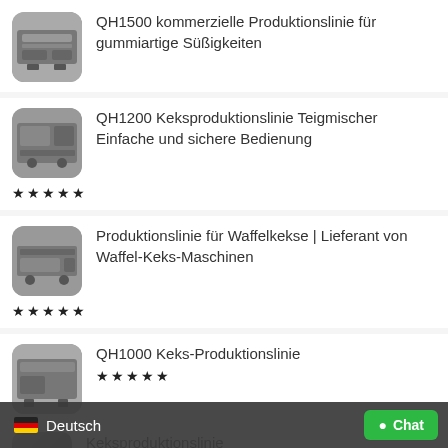QH1500 kommerzielle Produktionslinie für gummiartige Süßigkeiten
QH1200 Keksproduktionslinie Teigmischer Einfache und sichere Bedienung ★★★★★
Produktionslinie für Waffelkekse | Lieferant von Waffel-Keks-Maschinen ★★★★★
QH1000 Keks-Produktionslinie ★★★★★
Keksproduktionslinie
🇩🇪 Deutsch
● Chat